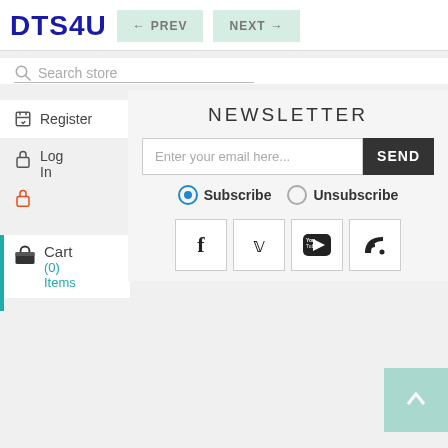DTS4U
← PREV
NEXT →
Search store
Register
Log In
Cart (0) Items
NEWSLETTER
Enter your email here...
SEND
Subscribe
Unsubscribe